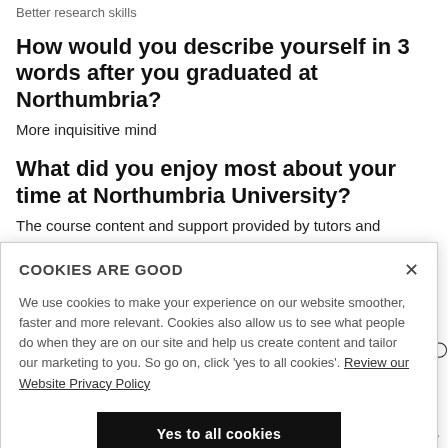Better research skills
How would you describe yourself in 3 words after you graduated at Northumbria?
More inquisitive mind
What did you enjoy most about your time at Northumbria University?
The course content and support provided by tutors and
COOKIES ARE GOOD

We use cookies to make your experience on our website smoother, faster and more relevant. Cookies also allow us to see what people do when they are on our site and help us create content and tailor our marketing to you. So go on, click 'yes to all cookies'. Review our Website Privacy Policy

Yes to all cookies